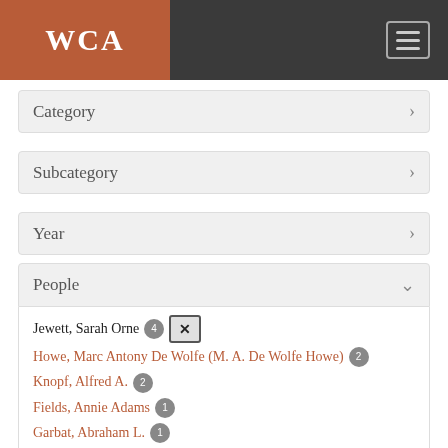WCA
Category
Subcategory
Year
People
Jewett, Sarah Orne 4 [x]
Howe, Marc Antony De Wolfe (M. A. De Wolfe Howe) 2
Knopf, Alfred A. 2
Fields, Annie Adams 1
Garbat, Abraham L. 1
Greenslet, Ferris 1
Houelle, William D. ...